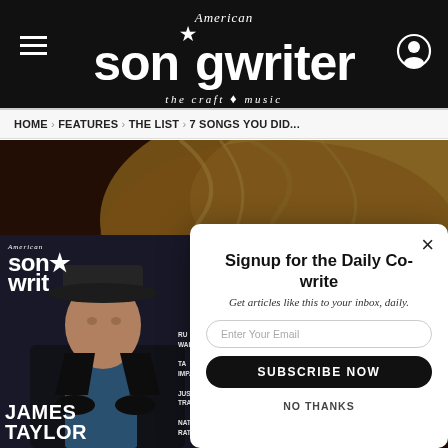American Songwriter — the craft of music
HOME › FEATURES › THE LIST › 7 SONGS YOU DID...
[Figure (screenshot): Photo background of blonde curly hair]
[Figure (screenshot): American Songwriter magazine cover featuring James Taylor wearing a flat cap, with sidebar text: RU WAIN, TA IMPALA, JUSTI TRANTER, NATHA RATEL. Large text at bottom reads JAMES TAYLOR.]
Signup for the Daily Co-write
Get articles like this to your inbox, daily.
Enter Your Email
SUBSCRIBE NOW
NO THANKS